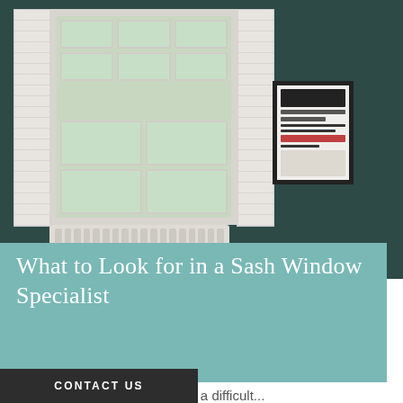[Figure (photo): Interior room photo showing a white sash window with shutters, green view outside, white radiator below, on a dark teal wall with a framed poster on the right.]
What to Look for in a Sash Window Specialist
Finding a sash window specialist who is not only good at their job but also affordable, can be a difficult...
CONTACT US